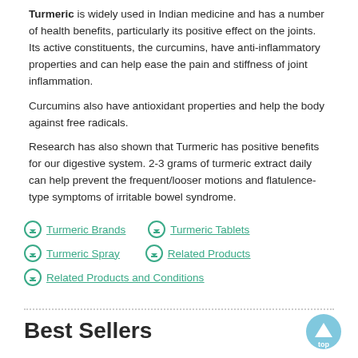Turmeric is widely used in Indian medicine and has a number of health benefits, particularly its positive effect on the joints. Its active constituents, the curcumins, have anti-inflammatory properties and can help ease the pain and stiffness of joint inflammation.
Curcumins also have antioxidant properties and help the body against free radicals.
Research has also shown that Turmeric has positive benefits for our digestive system. 2-3 grams of turmeric extract daily can help prevent the frequent/looser motions and flatulence-type symptoms of irritable bowel syndrome.
Turmeric Brands
Turmeric Tablets
Turmeric Spray
Related Products
Related Products and Conditions
Best Sellers